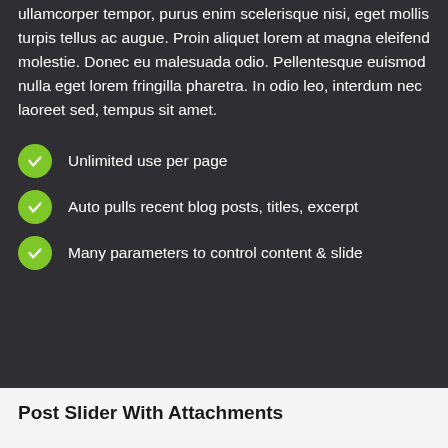ullamcorper tempor, purus enim scelerisque nisi, eget mollis turpis tellus ac augue. Proin aliquet lorem at magna eleifend molestie. Donec eu malesuada odio. Pellentesque euismod nulla eget lorem fringilla pharetra. In odio leo, interdum nec laoreet sed, tempus sit amet.
Unlimited use per page
Auto pulls recent blog posts, titles, excerpt
Many parameters to control content & slide
Post Slider With Attachments